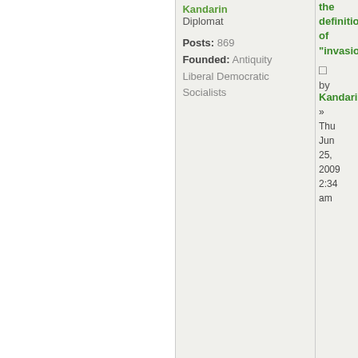Kandarin
Diplomat
Posts: 869
Founded: Antiquity
Liberal Democratic Socialists
the definition of "invasio...
by Kandarin » Thu Jun 25, 2009 2:34 am